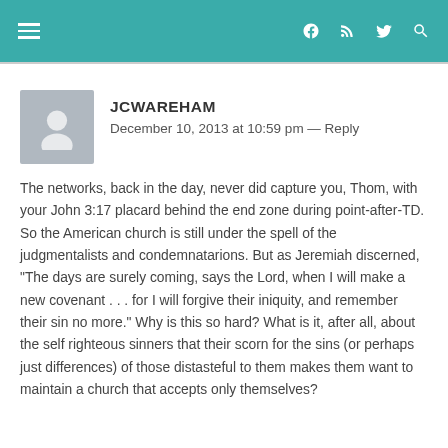≡  f  ⊂)  🐦  🔍
JCWAREHAM
December 10, 2013 at 10:59 pm — Reply
The networks, back in the day, never did capture you, Thom, with your John 3:17 placard behind the end zone during point-after-TD. So the American church is still under the spell of the judgmentalists and condemnatarions. But as Jeremiah discerned, "The days are surely coming, says the Lord, when I will make a new covenant . . . for I will forgive their iniquity, and remember their sin no more." Why is this so hard? What is it, after all, about the self righteous sinners that their scorn for the sins (or perhaps just differences) of those distasteful to them makes them want to maintain a church that accepts only themselves?